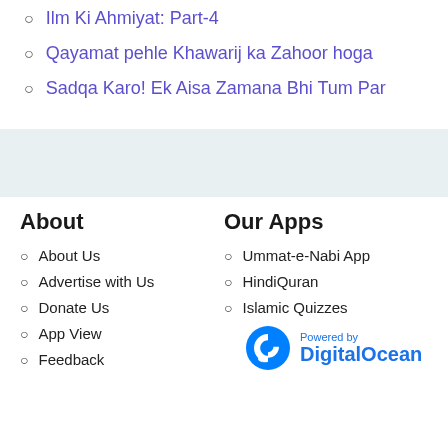Ilm Ki Ahmiyat: Part-4
Qayamat pehle Khawarij ka Zahoor hoga
Sadqa Karo! Ek Aisa Zamana Bhi Tum Par
About
Our Apps
About Us
Advertise with Us
Donate Us
App View
Feedback
Ummat-e-Nabi App
HindiQuran
Islamic Quizzes
[Figure (logo): DigitalOcean logo with 'Powered by DigitalOcean' text]